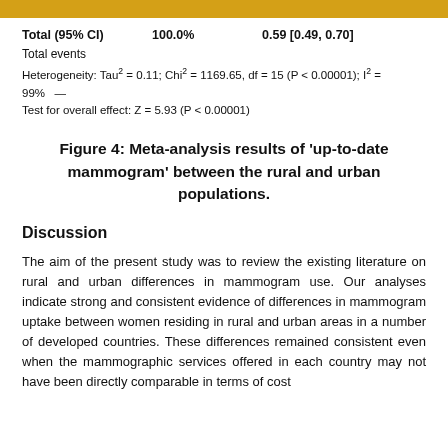Total (95% CI)   100.0%   0.59 [0.49, 0.70]
Total events
Heterogeneity: Tau² = 0.11; Chi² = 1169.65, df = 15 (P < 0.00001); I² = 99%
Test for overall effect: Z = 5.93 (P < 0.00001)
Figure 4: Meta-analysis results of 'up-to-date mammogram' between the rural and urban populations.
Discussion
The aim of the present study was to review the existing literature on rural and urban differences in mammogram use. Our analyses indicate strong and consistent evidence of differences in mammogram uptake between women residing in rural and urban areas in a number of developed countries. These differences remained consistent even when the mammographic services offered in each country may not have been directly comparable in terms of cost